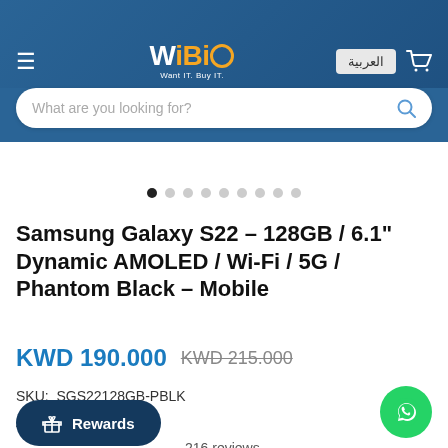[Figure (screenshot): WiBi e-commerce website header with logo, language toggle, cart icon, and search bar]
[Figure (other): Image slider dots — 9 dots, first active (black), rest grey]
Samsung Galaxy S22 – 128GB / 6.1" Dynamic AMOLED / Wi-Fi / 5G / Phantom Black – Mobile
KWD 190.000  KWD 215.000
SKU:  SGS22128GB-PBLK
A___ [In] stock
216 reviews
[Figure (other): Rewards button (dark blue pill button with gift icon)]
[Figure (other): WhatsApp floating action button (green circle with WhatsApp icon)]